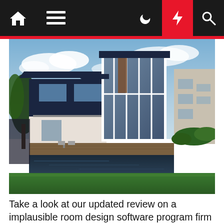Navigation bar with home, menu, moon, lightning, and search icons
[Figure (photo): Modern two-story luxury house with large glass walls, flat roof, pool in foreground, green lawn, and tropical trees in the background under a cloudy blue sky.]
Take a look at our updated review on a implausible room design software program firm right here This firm not solely designs your area, but lets you buy the furnishings and decor from you design. Video games typically assist us act out our preferred life stories and offer a way of management over our